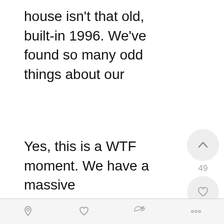house isn't that old, built-in 1996. We've found so many odd things about our house. Actually, here is a deck throwback. Circa 2011.
[Figure (photo): Empty white image area - a deck throwback photo circa 2011 (image content not visible in this crop)]
Yes, this is a WTF moment. We have a massive
Navigation bar with share, like, tweet, and other icons